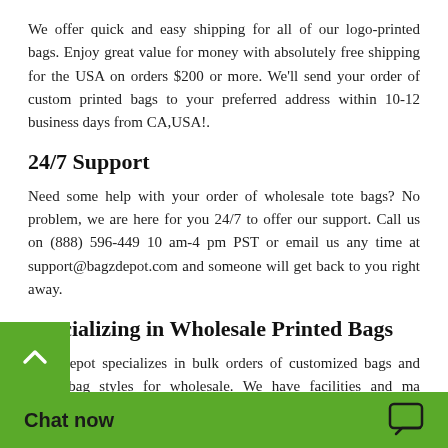We offer quick and easy shipping for all of our logo-printed bags. Enjoy great value for money with absolutely free shipping for the USA on orders $200 or more. We'll send your order of custom printed bags to your preferred address within 10-12 business days from CA,USA!.
24/7 Support
Need some help with your order of wholesale tote bags? No problem, we are here for you 24/7 to offer our support. Call us on (888) 596-449 10 am-4 pm PST or email us any time at support@bagzdepot.com and someone will get back to you right away.
Specializing in Wholesale Printed Bags
BagzDepot specializes in bulk orders of customized bags and other bag styles for wholesale. We have facilities and ma... large orders in the sh...